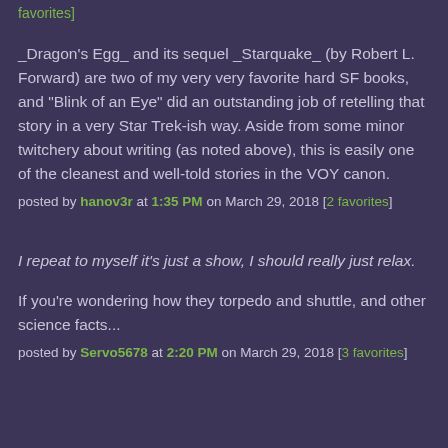favorites]
_Dragon's Egg_ and its sequel _Starquake_ (by Robert L. Forward) are two of my very very favorite hard SF books, and "Blink of an Eye" did an outstanding job of retelling that story in a very Star Trek-ish way. Aside from some minor twitchery about writing (as noted above), this is easily one of the cleanest and well-told stories in the VOY canon.
posted by hanov3r at 1:35 PM on March 29, 2018 [2 favorites]
I repeat to myself it’s just a show, I should really just relax.
If you’re wondering how they torpedo and shuttle, and other science facts...
posted by Servo5678 at 2:20 PM on March 29, 2018 [3 favorites]